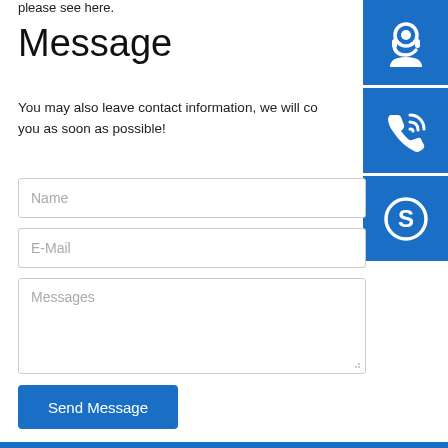please see here.
Message
You may also leave contact information, we will contact you as soon as possible!
[Figure (illustration): Blue icon block with customer support (headset) icon]
[Figure (illustration): Blue icon block with phone/call icon]
[Figure (illustration): Blue icon block with Skype icon]
Name
E-Mail
Messages
Send Message
Steel structure